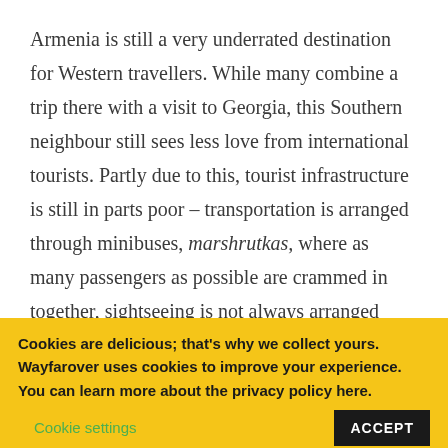Armenia is still a very underrated destination for Western travellers. While many combine a trip there with a visit to Georgia, this Southern neighbour still sees less love from international tourists. Partly due to this, tourist infrastructure is still in parts poor – transportation is arranged through minibuses, marshrutkas, where as many passengers as possible are crammed in together, sightseeing is not always arranged well, and in many places, a language barrier springs between you and locals as soon as you open
Cookies are delicious; that's why we collect yours. Wayfarover uses cookies to improve your experience. You can learn more about the privacy policy here. Cookie settings ACCEPT